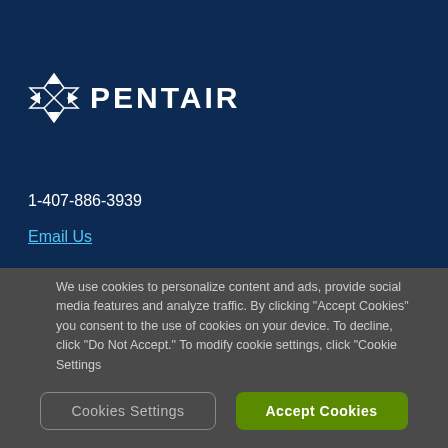[Figure (logo): Pentair logo with diamond/star icon and text PENTAIR in white on dark navy background]
1-407-886-3939
Email Us
We use cookies to personalize content and ads, provide social media features and analyze traffic. By clicking "Accept Cookies" you consent to the use of cookies on your device. To decline, click "Do Not Accept." To modify cookie settings, click "Cookie Settings